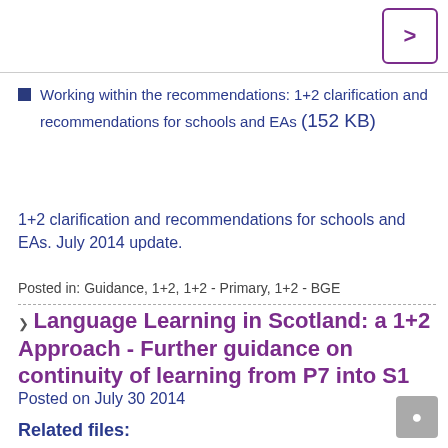Working within the recommendations: 1+2 clarification and recommendations for schools and EAs (152 KB)
1+2 clarification and recommendations for schools and EAs. July 2014 update.
Posted in: Guidance, 1+2, 1+2 - Primary, 1+2 - BGE
Language Learning in Scotland: a 1+2 Approach - Further guidance on continuity of learning from P7 into S1
Posted on July 30 2014
Related files: